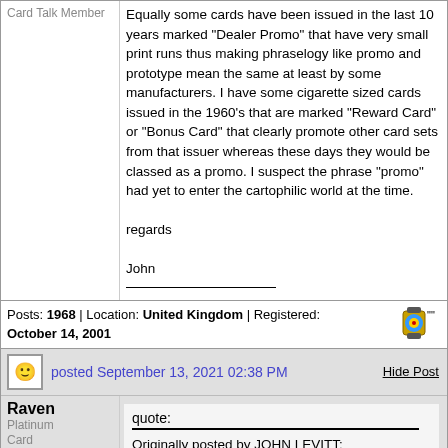Equally some cards have been issued in the last 10 years marked "Dealer Promo" that have very small print runs thus making phraselogy like promo and prototype mean the same at least by some manufacturers. I have some cigarette sized cards issued in the 1960's that are marked "Reward Card" or "Bonus Card" that clearly promote other card sets from that issuer whereas these days they would be classed as a promo. I suspect the phrase "promo" had yet to enter the cartophilic world at the time.
regards
John
Posts: 1968 | Location: United Kingdom | Registered: October 14, 2001
posted September 13, 2021 02:38 PM
Hide Post
Raven
Platinum Card Talk Member
quote:
Originally posted by JOHN LEVITT:
Equally some cards have been issued in the last 10 years marked "Dealer Promo" that have very small print runs thus making phraselogy like promo and prototype mean the same at least by some manufacturers.